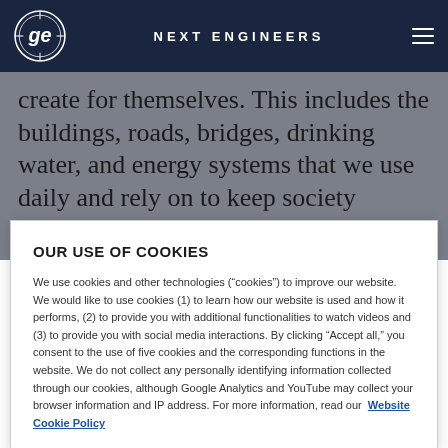NEXT ENGINEERS
create for themselves. This includes the buildings, roads, bridges, drinking water, and energy systems that we use daily and rely on to keep society functioning.
OUR USE OF COOKIES
We use cookies and other technologies (“cookies”) to improve our website. We would like to use cookies (1) to learn how our website is used and how it performs, (2) to provide you with additional functionalities to watch videos and (3) to provide you with social media interactions. By clicking “Accept all,” you consent to the use of five cookies and the corresponding functions in the website. We do not collect any personally identifying information collected through our cookies, although Google Analytics and YouTube may collect your browser information and IP address. For more information, read our Website Cookie Policy